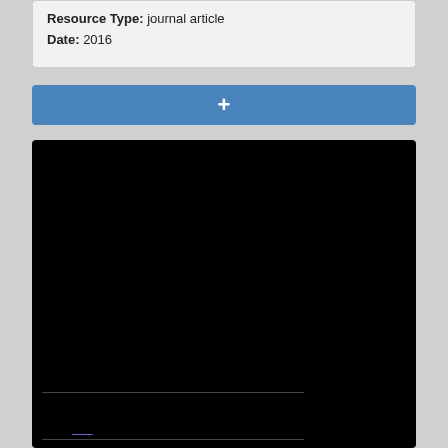Resource Type: journal article
Date: 2016
[Figure (screenshot): Blue button bar with a white plus (+) symbol in the center]
[Figure (screenshot): Black background box with faint lines and a blue underlined link near the bottom]